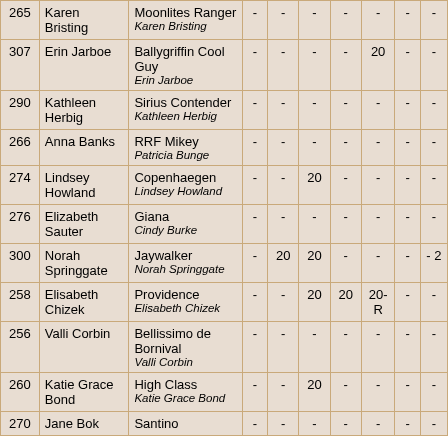| # | Name | Horse / Owner |  |  |  |  |  |  |  |
| --- | --- | --- | --- | --- | --- | --- | --- | --- | --- |
| 265 | Karen Bristing | Moonlites Ranger
Karen Bristing | - | - | - | - | - | - | - |
| 307 | Erin Jarboe | Ballygriffin Cool Guy
Erin Jarboe | - | - | - | - | 20 | - | - |
| 290 | Kathleen Herbig | Sirius Contender
Kathleen Herbig | - | - | - | - | - | - | - |
| 266 | Anna Banks | RRF Mikey
Patricia Bunge | - | - | - | - | - | - | - |
| 274 | Lindsey Howland | Copenhaegen
Lindsey Howland | - | - | 20 | - | - | - | - |
| 276 | Elizabeth Sauter | Giana
Cindy Burke | - | - | - | - | - | - | - |
| 300 | Norah Springgate | Jaywalker
Norah Springgate | - | 20 | 20 | - | - | - | - | 2 |
| 258 | Elisabeth Chizek | Providence
Elisabeth Chizek | - | - | 20 | 20 | 20-R | - | - |
| 256 | Valli Corbin | Bellissimo de Bornival
Valli Corbin | - | - | - | - | - | - | - |
| 260 | Katie Grace Bond | High Class
Katie Grace Bond | - | - | 20 | - | - | - | - |
| 270 | Jane Bok | Santino | - | - | - | - | - | - | - |